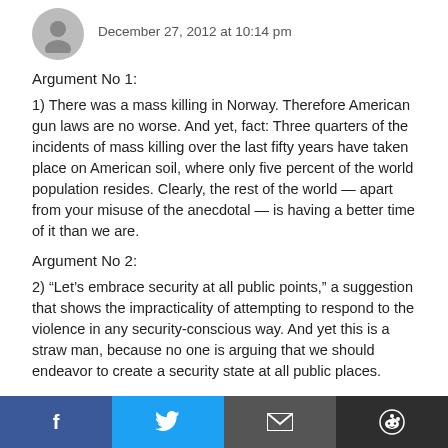December 27, 2012 at 10:14 pm
Argument No 1:
1) There was a mass killing in Norway. Therefore American gun laws are no worse. And yet, fact: Three quarters of the incidents of mass killing over the last fifty years have taken place on American soil, where only five percent of the world population resides. Clearly, the rest of the world — apart from your misuse of the anecdotal — is having a better time of it than we are.
Argument No 2:
2) “Let’s embrace security at all public points,” a suggestion that shows the impracticality of attempting to respond to the violence in any security-conscious way. And yet this is a straw man, because no one is arguing that we should endeavor to create a security state at all public places.
f  Twitter  Email  Reddit